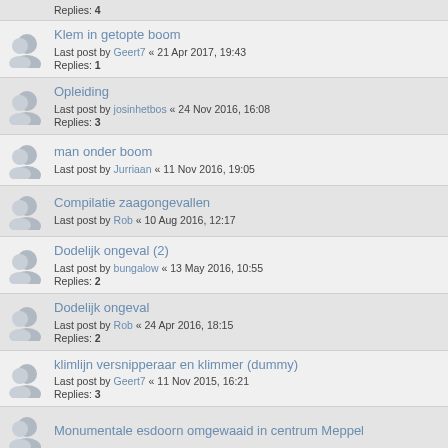Replies: 4
Klem in getopte boom
Last post by Geert7 « 21 Apr 2017, 19:43
Replies: 1
Opleiding
Last post by josinhetbos « 24 Nov 2016, 16:08
Replies: 3
man onder boom
Last post by Jurriaan « 11 Nov 2016, 19:05
Compilatie zaagongevallen
Last post by Rob « 10 Aug 2016, 12:17
Dodelijk ongeval (2)
Last post by bungalow « 13 May 2016, 10:55
Replies: 2
Dodelijk ongeval
Last post by Rob « 24 Apr 2016, 18:15
Replies: 2
klimlijn versnipperaar en klimmer (dummy)
Last post by Geert7 « 11 Nov 2015, 16:21
Replies: 3
Monumentale esdoorn omgewaaid in centrum Meppel